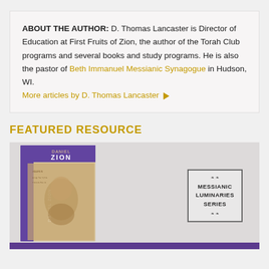ABOUT THE AUTHOR: D. Thomas Lancaster is Director of Education at First Fruits of Zion, the author of the Torah Club programs and several books and study programs. He is also the pastor of Beth Immanuel Messianic Synagogue in Hudson, WI. More articles by D. Thomas Lancaster ▶
FEATURED RESOURCE
[Figure (photo): Book cover for 'Daniel Zion' from the Messianic Luminaries Series, showing a purple spine with the title 'DANIEL ZION', with a sepia-toned historical photograph on the cover and a badge reading 'MESSIANIC LUMINARIES SERIES' on the right side.]